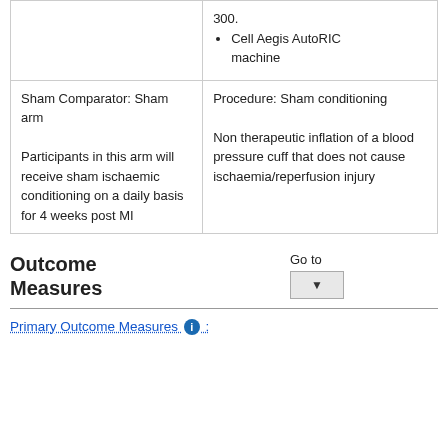| Arm | Intervention/Treatment |
| --- | --- |
|  | 300.
• Cell Aegis AutoRIC machine |
| Sham Comparator: Sham arm
Participants in this arm will receive sham ischaemic conditioning on a daily basis for 4 weeks post MI | Procedure: Sham conditioning
Non therapeutic inflation of a blood pressure cuff that does not cause ischaemia/reperfusion injury |
Outcome Measures
Go to
Primary Outcome Measures :